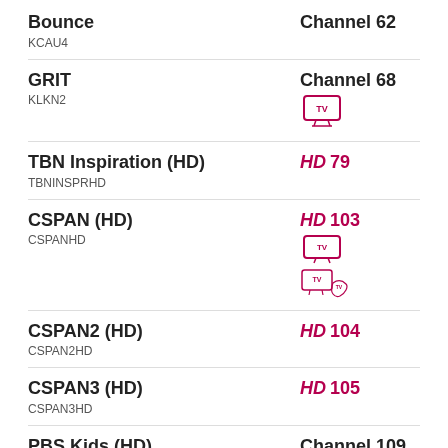Bounce / KCAU4 / Channel 62
GRIT / KLKN2 / Channel 68
TBN Inspiration (HD) / TBNINSPRHD / HD 79
CSPAN (HD) / CSPANHD / HD 103
CSPAN2 (HD) / CSPAN2HD / HD 104
CSPAN3 (HD) / CSPAN3HD / HD 105
PBS Kids (HD) / NET4 / Channel 109